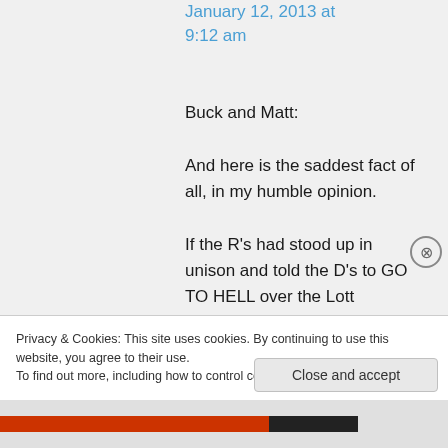January 12, 2013 at 9:12 am
Buck and Matt:

And here is the saddest fact of all, in my humble opinion.

If the R's had stood up in unison and told the D's to GO TO HELL over the Lott
Privacy & Cookies: This site uses cookies. By continuing to use this website, you agree to their use.
To find out more, including how to control cookies, see here: Cookie Policy